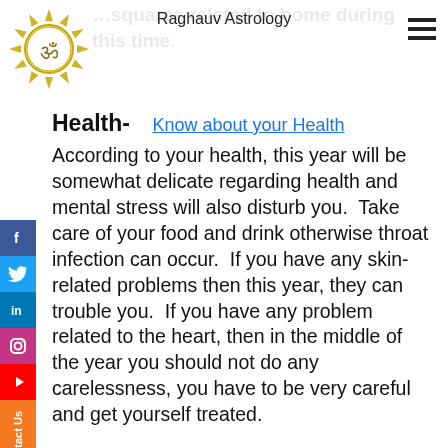Raghauv Astrology
[Figure (logo): Sun logo with Om symbol, gold/yellow rays around a white circle with the Om symbol inside]
…squares related home during this time.
Health-   Know about your Health
According to your health, this year will be somewhat delicate regarding health and mental stress will also disturb you.  Take care of your food and drink otherwise throat infection can occur.  If you have any skin-related problems then this year, they can trouble you.  If you have any problem related to the heart, then in the middle of the year you should not do any carelessness, you have to be very careful and get yourself treated.